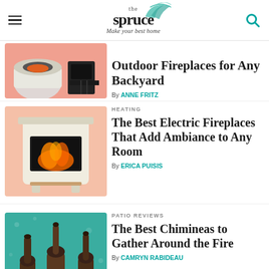the spruce — Make your best home
Outdoor Fireplaces for Any Backyard
By ANNE FRITZ
HEATING
The Best Electric Fireplaces That Add Ambiance to Any Room
By ERICA PUISIS
PATIO REVIEWS
The Best Chimineas to Gather Around the Fire
By CAMRYN RABIDEAU